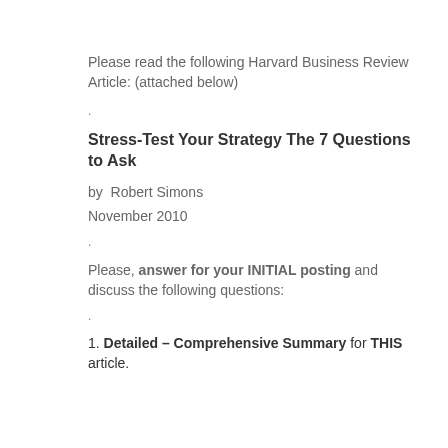Please read the following Harvard Business Review Article: (attached below)
.
Stress-Test Your Strategy The 7 Questions to Ask
by Robert Simons
November 2010
.
Please, answer for your INITIAL posting and discuss the following questions:
.
1. Detailed – Comprehensive Summary for THIS article.